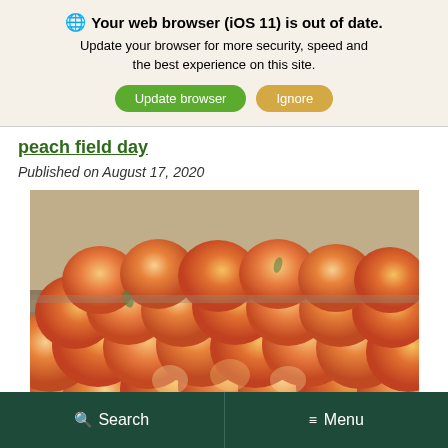🌐 Your web browser (iOS 11) is out of date. Update your browser for more security, speed and the best experience on this site. Update browser  Ignore
peach field day
Published on August 17, 2020
[Figure (photo): Wooden crates filled with fresh ripe peaches, photographed at close range showing the orange-red fruit in bins]
Search   Menu